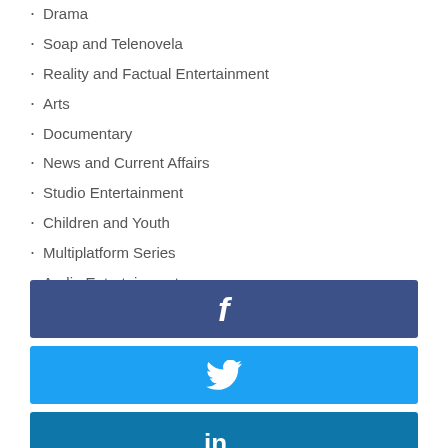Drama
Soap and Telenovela
Reality and Factual Entertainment
Arts
Documentary
News and Current Affairs
Studio Entertainment
Children and Youth
Multiplatform Series
Audio Entertainment
[Figure (other): Facebook share button (blue/navy background with white f icon)]
[Figure (other): Twitter share button (light blue background with white bird icon)]
[Figure (other): LinkedIn share button (teal/blue background with white in icon)]
[Figure (other): Email share button (grey background with white envelope icon)]